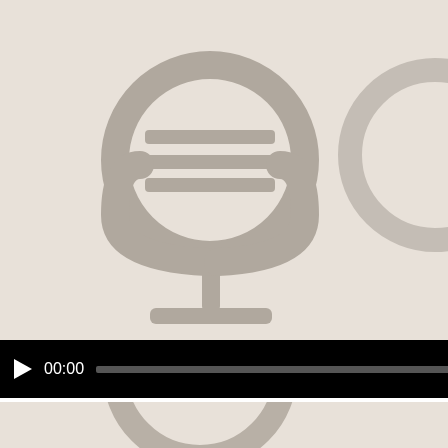[Figure (illustration): Podcast thumbnail image with large microphone icon on beige/tan background, with audio player controls showing play button, 00:00 timestamp, and progress bar on black background]
Money Can't Buy You Wealth
Satguru Sivaya Subramuniyaswami
Given On: 2000-09-04
A e-devotee in Germany asks about wealth. Gurudeva explains how many people approach wealth as the accumulation of...
[Figure (illustration): Partial podcast thumbnail image at bottom, beige/tan background with partial microphone icon visible]